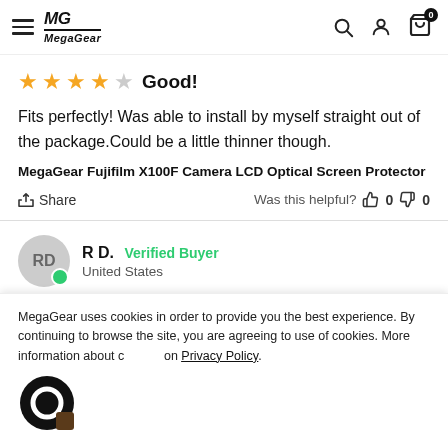MegaGear
Good!
Fits perfectly! Was able to install by myself straight out of the package.Could be a little thinner though.
MegaGear Fujifilm X100F Camera LCD Optical Screen Protector
Share  Was this helpful? 0 0
R D.  Verified Buyer
United States
MegaGear uses cookies in order to provide you the best experience. By continuing to browse the site, you are agreeing to use of cookies. More information about cookies on Privacy Policy.